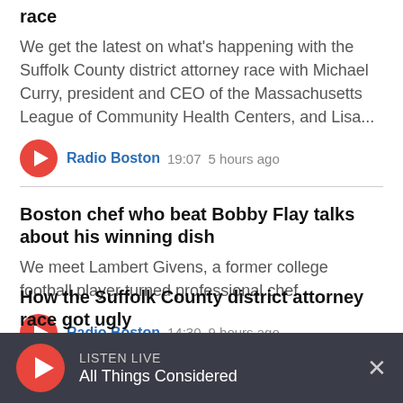race
We get the latest on what's happening with the Suffolk County district attorney race with Michael Curry, president and CEO of the Massachusetts League of Community Health Centers, and Lisa...
Radio Boston  19:07  5 hours ago
Boston chef who beat Bobby Flay talks about his winning dish
We meet Lambert Givens, a former college football player turned professional chef.
Radio Boston  14:30  9 hours ago
How the Suffolk County district attorney race got ugly
LISTEN LIVE  All Things Considered